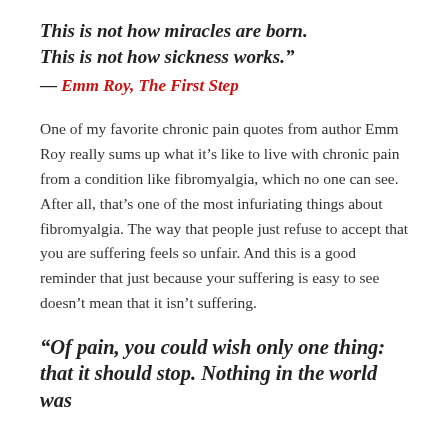This is not how miracles are born.
This is not how sickness works."
— Emm Roy, The First Step
One of my favorite chronic pain quotes from author Emm Roy really sums up what it's like to live with chronic pain from a condition like fibromyalgia, which no one can see. After all, that's one of the most infuriating things about fibromyalgia. The way that people just refuse to accept that you are suffering feels so unfair. And this is a good reminder that just because your suffering is easy to see doesn't mean that it isn't suffering.
"Of pain, you could wish only one thing: that it should stop. Nothing in the world was